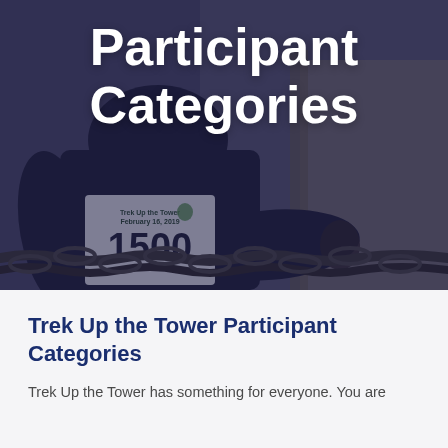[Figure (photo): A person wearing a race bib numbered 1500 for 'Trek Up the Tower February 16, 2019', dressed in dark clothing, holding a metal chain, with a dark blue/purple overlay on the image. The text 'Participant Categories' is overlaid in large white bold font at the top.]
Participant Categories
Trek Up the Tower Participant Categories
Trek Up the Tower has something for everyone. You are